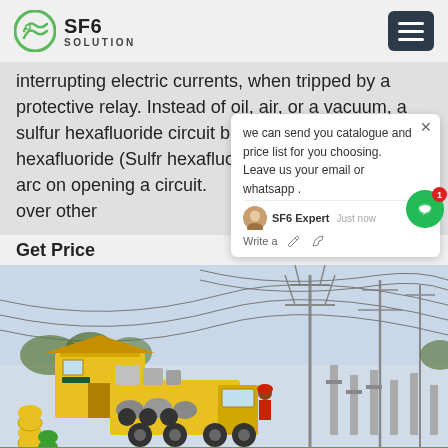SF6 SOLUTION
interrupting electric currents, when tripped by a protective relay. Instead of oil, air, or a vacuum, a sulfur hexafluoride circuit breaker uses sulfur hexafluoride (Sulfr hexafluoride) gas to quench the arc on opening a circuit. over other
we can send you catalogue and price list for you choosing. Leave us your email or whatsapp .
Get Price
[Figure (photo): Yellow SF6 gas service vehicle at an electrical substation with high-voltage transmission towers and power lines in the background]